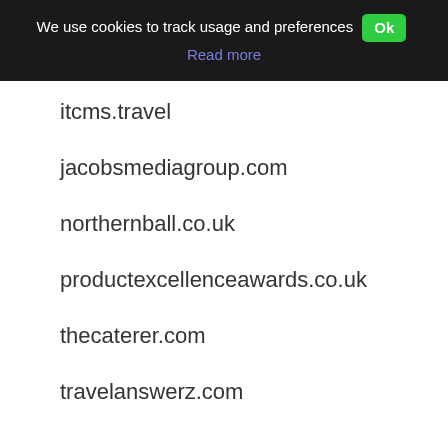We use cookies to track usage and preferences  Ok  Read more
itcms.travel
jacobsmediagroup.com
northernball.co.uk
productexcellenceawards.co.uk
thecaterer.com
travelanswerz.com